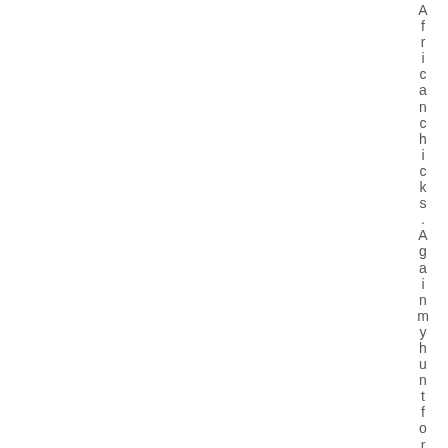Africanchicks. Again my hunt for and